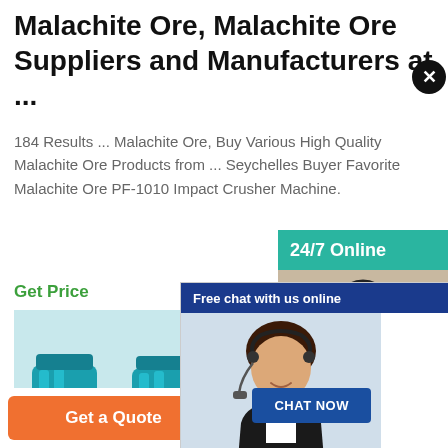Malachite Ore, Malachite Ore Suppliers and Manufacturers at ...
184 Results ... Malachite Ore, Buy Various High Quality Malachite Ore Products from ... Seychelles Buyer Favorite Malachite Ore PF-1010 Impact Crusher Machine.
Get Price
[Figure (screenshot): Chat popup overlay with 'Free chat with us online' header and 'CHAT NOW' button, showing a customer service representative]
[Figure (screenshot): Teal sidebar panel showing '24/7 Online', a customer service agent photo, 'Have any requests, click here.' text, and Quotation button with close X button]
[Figure (photo): Industrial blue mining/crushing machines (impact crushers) in a factory warehouse]
Get a Quote
WhatsApp